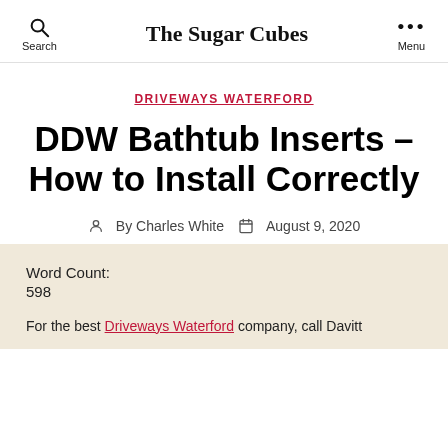The Sugar Cubes
DRIVEWAYS WATERFORD
DDW Bathtub Inserts – How to Install Correctly
By Charles White   August 9, 2020
Word Count:
598
For the best Driveways Waterford company, call Davitt